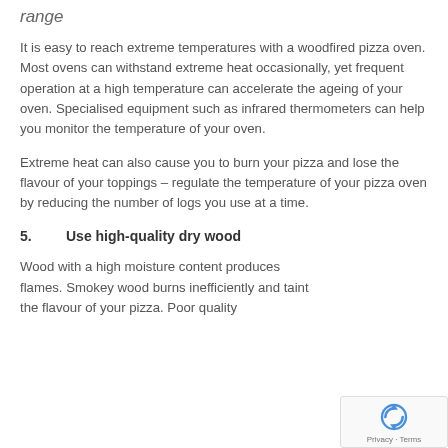range
It is easy to reach extreme temperatures with a woodfired pizza oven. Most ovens can withstand extreme heat occasionally, yet frequent operation at a high temperature can accelerate the ageing of your oven. Specialised equipment such as infrared thermometers can help you monitor the temperature of your oven.
Extreme heat can also cause you to burn your pizza and lose the flavour of your toppings – regulate the temperature of your pizza oven by reducing the number of logs you use at a time.
5.      Use high-quality dry wood
Wood with a high moisture content produces flames. Smokey wood burns inefficiently and taint the flavour of your pizza. Poor quality